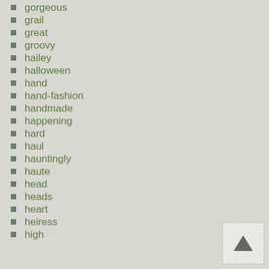gorgeous
grail
great
groovy
hailey
halloween
hand
hand-fashion
handmade
happening
hard
haul
hauntingly
haute
head
heads
heart
heiress
high